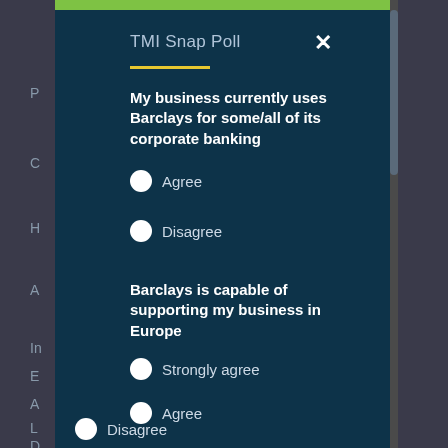TMI Snap Poll
My business currently uses Barclays for some/all of its corporate banking
Agree
Disagree
Barclays is capable of supporting my business in Europe
Strongly agree
Agree
Disagree
Strongly disagree